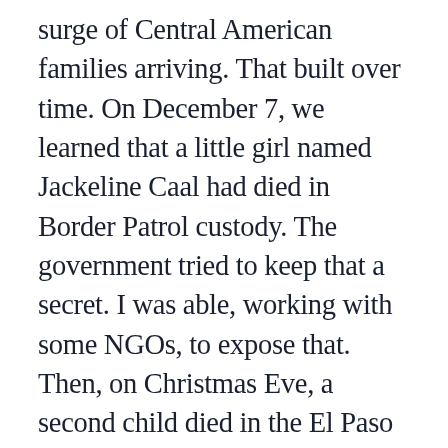surge of Central American families arriving. That built over time. On December 7, we learned that a little girl named Jackeline Caal had died in Border Patrol custody. The government tried to keep that a secret. I was able, working with some NGOs, to expose that. Then, on Christmas Eve, a second child died in the El Paso Border Patrol sector, a boy named Felipe, who was 8 years old. Jackeline was 7. Over the succeeding few months, we had five children, total, die in the custody of customs and border